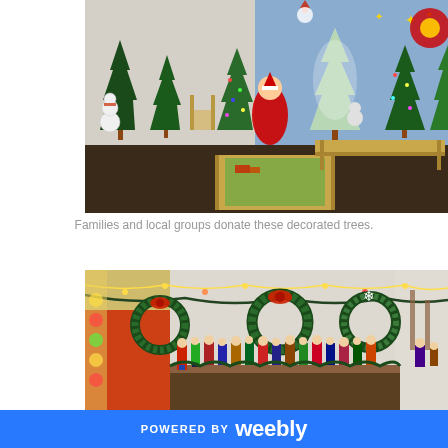[Figure (photo): Indoor Christmas tree festival displaying multiple decorated Christmas trees of various sizes in a large room. Trees are adorned with lights and ornaments. Snowmen decorations and a train table are visible in the foreground. Hanging decorations including stars and a large poinsettia flower appear at the top.]
Families and local groups donate these decorated trees.
[Figure (photo): Interior room decorated for Christmas with multiple wreaths hanging on a wall, garlands, string lights, and a large collection of nutcracker figurines displayed on a table. A red backdrop is visible on the left side.]
POWERED BY weebly